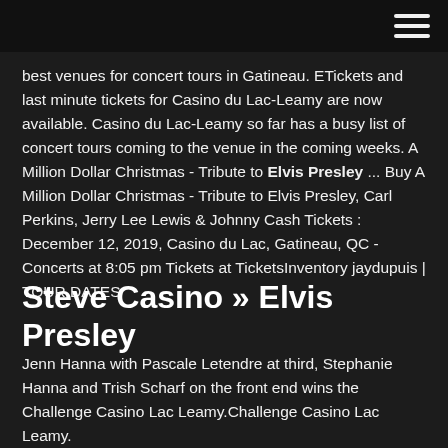best venues for concert tours in Gatineau. ETickets and last minute tickets for Casino du Lac-Leamy are now available. Casino du Lac-Leamy so far has a busy list of concert tours coming to the venue in the coming weeks. A Million Dollar Christmas - Tribute to Elvis Presley ... Buy A Million Dollar Christmas - Tribute to Elvis Presley, Carl Perkins, Jerry Lee Lewis & Johnny Cash Tickets : December 12, 2019, Casino du Lac, Gatineau, QC - Concerts at 8:05 pm Tickets at TicketsInventory jaydupuis | TOUR DATES
Steve Casino » Elvis Presley
Jenn Hanna with Pascale Letendre at third, Stephanie Hanna and Trish Scharf on the front end wins the Challenge Casino Lac Leamy.Challenge Casino Lac Leamy.